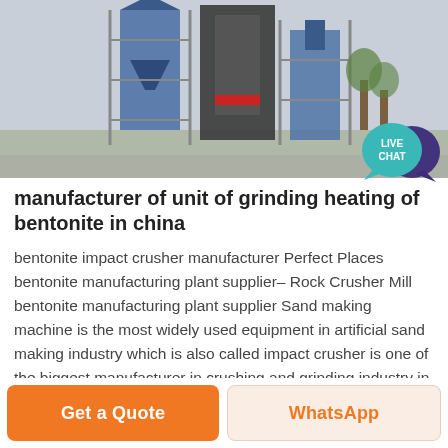[Figure (photo): Industrial grinding or milling equipment with blue metal structures, silos, and machinery photographed outdoors.]
[Figure (other): Live Chat speech bubble icon in teal/purple colors with text LIVE CHAT.]
manufacturer of unit of grinding heating of bentonite in china
bentonite impact crusher manufacturer Perfect Places bentonite manufacturing plant supplier– Rock Crusher Mill bentonite manufacturing plant supplier Sand making machine is the most widely used equipment in artificial sand making industry which is also called impact crusher is one of the biggest manufacturer in crushing and grinding industry in China was founded over
Get a Quote
WhatsApp